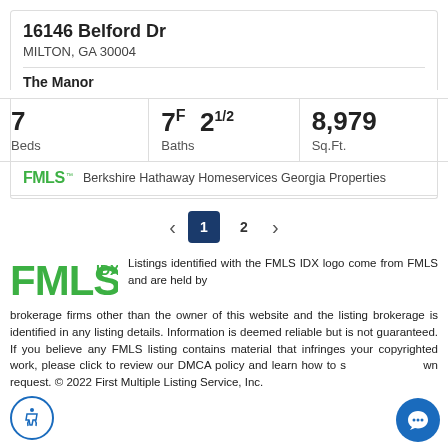16146 Belford Dr
MILTON, GA 30004
The Manor
| Beds | Baths | Sq.Ft. |
| --- | --- | --- |
| 7 | 7F 21/2 | 8,979 |
FMLS Berkshire Hathaway Homeservices Georgia Properties
< 1 2 >
[Figure (logo): FMLS IDX logo in green]
Listings identified with the FMLS IDX logo come from FMLS and are held by brokerage firms other than the owner of this website and the listing brokerage is identified in any listing details. Information is deemed reliable but is not guaranteed. If you believe any FMLS listing contains material that infringes your copyrighted work, please click to review our DMCA policy and learn how to submit a takedown request. © 2022 First Multiple Listing Service, Inc.